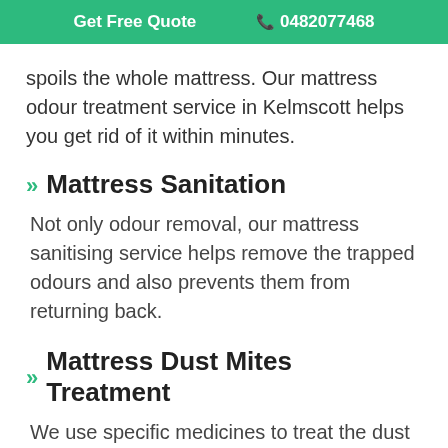Get Free Quote  📞 0482077468
spoils the whole mattress. Our mattress odour treatment service in Kelmscott helps you get rid of it within minutes.
Mattress Sanitation
Not only odour removal, our mattress sanitising service helps remove the trapped odours and also prevents them from returning back.
Mattress Dust Mites Treatment
We use specific medicines to treat the dust mites inside the mattress that causes itching and disturb your sound sleep.